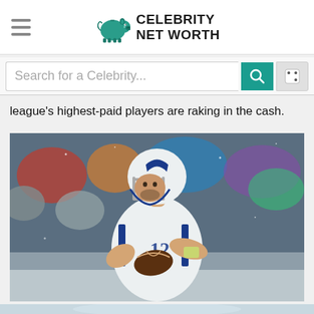Celebrity Net Worth
Search for a Celebrity...
league's highest-paid players are raking in the cash.
[Figure (photo): NFL quarterback wearing white Indianapolis Colts uniform number 12, holding football in throwing position, with crowd in background]